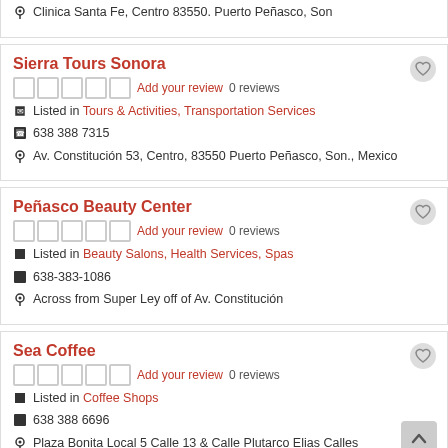Clinica Santa Fe, Centro 83550. Puerto Peñasco, Son
Sierra Tours Sonora
Add your review 0 reviews
Listed in Tours & Activities, Transportation Services
638 388 7315
Av. Constitución 53, Centro, 83550 Puerto Peñasco, Son., Mexico
Peñasco Beauty Center
Add your review 0 reviews
Listed in Beauty Salons, Health Services, Spas
638-383-1086
Across from Super Ley off of Av. Constitución
Sea Coffee
Add your review 0 reviews
Listed in Coffee Shops
638 388 6696
Plaza Bonita Local 5 Calle 13 & Calle Plutarco Elias Calles
SUPing The Sea Paddle Board Lessons and Rentals